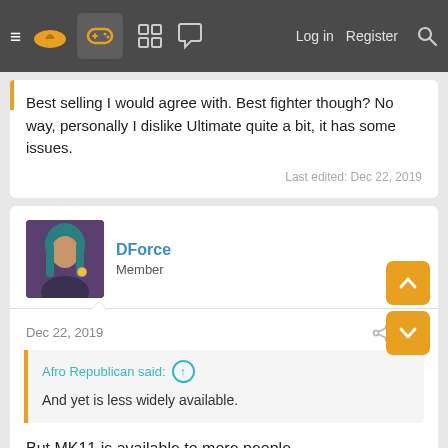≡ [logo] [games icon] [grid icon] [chat icon]  Log in  Register  🔍
Best selling I would agree with. Best fighter though? No way, personally I dislike Ultimate quite a bit, it has some issues.
Last edited: Dec 22, 2019
DForce
Member
Dec 22, 2019  #94
Afro Republican said: ↑
And yet is less widely available.
But MK11 is available to more people.